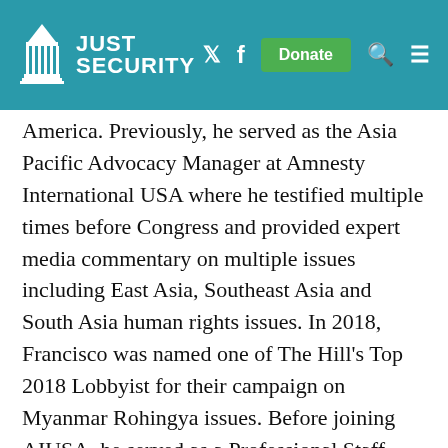JUST SECURITY
America. Previously, he served as the Asia Pacific Advocacy Manager at Amnesty International USA where he testified multiple times before Congress and provided expert media commentary on multiple issues including East Asia, Southeast Asia and South Asia human rights issues. In 2018, Francisco was named one of The Hill's Top 2018 Lobbyist for their campaign on Myanmar Rohingya issues. Before joining AIUSA, he served as a Professional Staff Member on the U.S. Senate Foreign Relations Committee for five years, where he assisted Democratic Senators on issues related to East Asia/Pacific, Southeast Asia,